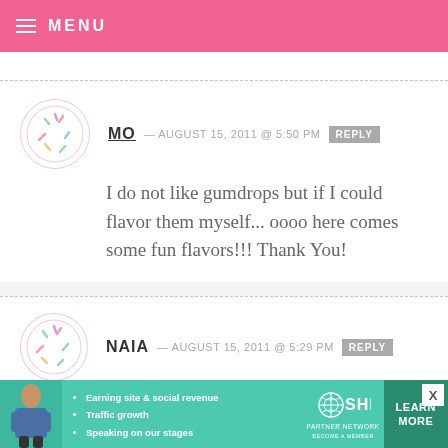MENU
MO — AUGUST 15, 2011 @ 5:50 PM  REPLY
I do not like gumdrops but if I could flavor them myself... oooo here comes some fun flavors!!! Thank You!
NAIA — AUGUST 15, 2011 @ 5:29 PM  REPLY
Bakerella, you never cease to amaze me..what a great idea for party favors,
[Figure (infographic): SHE Partner Network advertisement banner with woman photo, bullet points about earning site & social revenue, traffic growth, speaking on stages, SHE logo, and Learn More button]